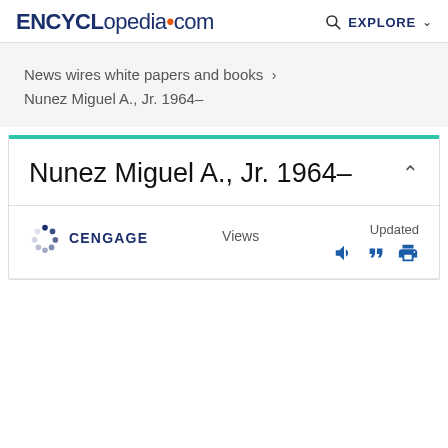ENCYCLopedia•com  EXPLORE
News wires white papers and books › Nunez Miguel A., Jr. 1964–
Nunez Miguel A., Jr. 1964–
CENGAGE  Views  Updated